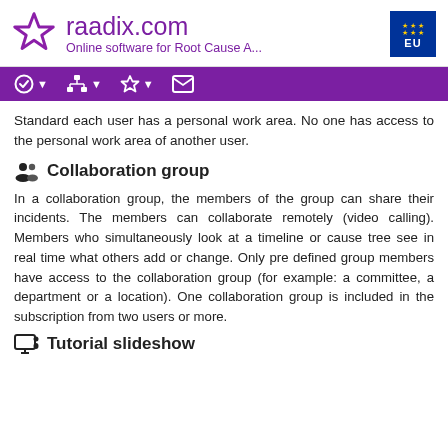raadix.com — Online software for Root Cause A...
Standard each user has a personal work area. No one has access to the personal work area of another user.
Collaboration group
In a collaboration group, the members of the group can share their incidents. The members can collaborate remotely (video calling). Members who simultaneously look at a timeline or cause tree see in real time what others add or change. Only pre defined group members have access to the collaboration group (for example: a committee, a department or a location). One collaboration group is included in the subscription from two users or more.
Tutorial slideshow